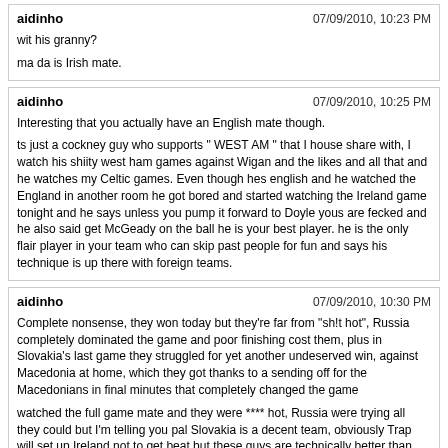aidinho | 07/09/2010, 10:23 PM
wit his granny?
ma da is Irish mate.
aidinho | 07/09/2010, 10:25 PM
Interesting that you actually have an English mate though.
ts just a cockney guy who supports " WEST AM " that I house share with, I watch his shiity west ham games against Wigan and the likes and all that and he watches my Celtic games. Even though hes english and he watched the England in another room he got bored and started watching the Ireland game tonight and he says unless you pump it forward to Doyle yous are fecked and he also said get McGeady on the ball he is your best player. he is the only flair player in your team who can skip past people for fun and says his technique is up there with foreign teams.
aidinho | 07/09/2010, 10:30 PM
Complete nonsense, they won today but they're far from "sh!t hot", Russia completely dominated the game and poor finishing cost them, plus in Slovakia's last game they struggled for yet another undeserved win, against Macedonia at home, which they got thanks to a sending off for the Macedonians in final minutes that completely changed the game
watched the full game mate and they were **** hot, Russia were trying all they could but I'm telling you pal Slovakia is a decent team, obviously Trap will set up Ireland not to get beat but these guys are technically better than Russia and thats why I said its between us and Slovakia to get the top spot.
Crosby87 | 07/09/2010, 10:31 PM
Couldn't watch any of the game today, and reading these pages didnt help